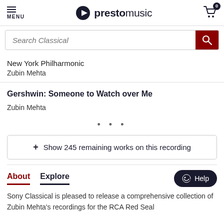MENU | prestomusic | 0
[Figure (screenshot): Presto Music website header with menu icon, logo, and cart icon with 0 badge]
Search Classical
New York Philharmonic
Zubin Mehta
Gershwin: Someone to Watch over Me
Zubin Mehta
...
+ Show 245 remaining works on this recording
About   Explore
Help
Sony Classical is pleased to release a comprehensive collection of Zubin Mehta's recordings for the RCA Red Seal